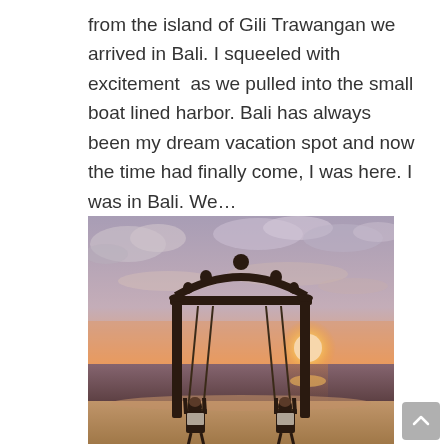from the island of Gili Trawangan we arrived in Bali. I squeeled with excitement  as we pulled into the small boat lined harbor. Bali has always been my dream vacation spot and now the time had finally come, I was here. I was in Bali. We…
[Figure (photo): Two people sitting on a large ornate wooden swing structure on a beach at sunset, silhouetted against a dramatic orange and pink sky with the ocean in the background.]